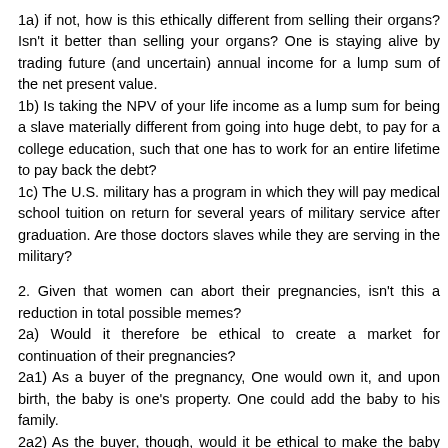1a) if not, how is this ethically different from selling their organs? Isn't it better than selling your organs? One is staying alive by trading future (and uncertain) annual income for a lump sum of the net present value.
1b) Is taking the NPV of your life income as a lump sum for being a slave materially different from going into huge debt, to pay for a college education, such that one has to work for an entire lifetime to pay back the debt?
1c) The U.S. military has a program in which they will pay medical school tuition on return for several years of military service after graduation. Are those doctors slaves while they are serving in the military?
2. Given that women can abort their pregnancies, isn't this a reduction in total possible memes?
2a) Would it therefore be ethical to create a market for continuation of their pregnancies?
2a1) As a buyer of the pregnancy, One would own it, and upon birth, the baby is one's property. One could add the baby to his family.
2a2) As the buyer, though, would it be ethical to make the baby my slave instead? The baby benefits by living